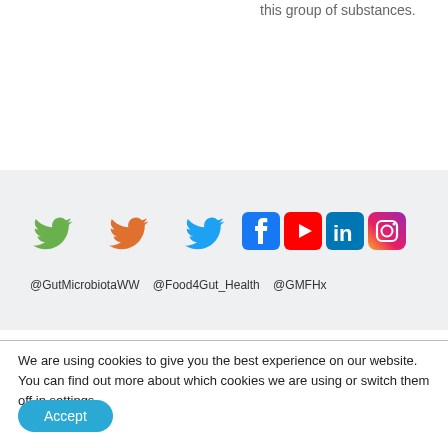this group of substances.
[Figure (infographic): Social media icons and handles: @GutMicrobiotaWW (green Twitter bird), @Food4Gut_Health (orange Twitter bird), @GMFHx (blue Twitter bird), plus Facebook, YouTube, LinkedIn, and Instagram icons on a light grey background.]
We are using cookies to give you the best experience on our website.
You can find out more about which cookies we are using or switch them off in settings.